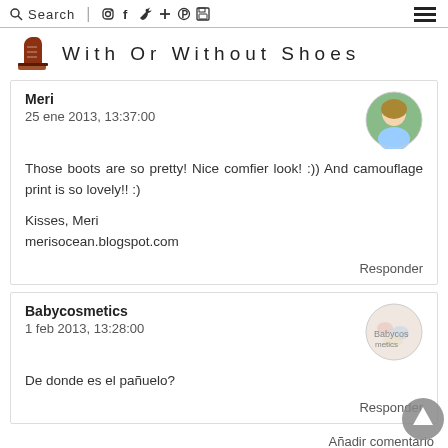Search | (instagram) (facebook) (twitter) + (pinterest) (save) ≡
With Or Without Shoes
Meri
25 ene 2013, 13:37:00

Those boots are so pretty! Nice comfier look! :)) And camouflage print is so lovely!! :)

Kisses, Meri
merisocean.blogspot.com
Responder
Babycosmetics
1 feb 2013, 13:28:00

De donde es el pañuelo?
Responder
Añadir comentario